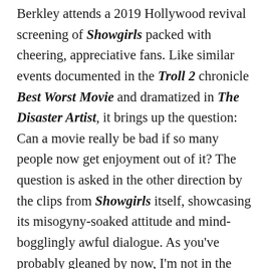Berkley attends a 2019 Hollywood revival screening of Showgirls packed with cheering, appreciative fans. Like similar events documented in the Troll 2 chronicle Best Worst Movie and dramatized in The Disaster Artist, it brings up the question: Can a movie really be bad if so many people now get enjoyment out of it? The question is asked in the other direction by the clips from Showgirls itself, showcasing its misogyny-soaked attitude and mind-bogglingly awful dialogue. As you've probably gleaned by now, I'm not in the camp that considers Showgirls to be any kind of unacknowledged gem. So it's a compliment to say that You Don't Nomi had me engaging with, if not completely buying, the opinions of those who find more worth in it.